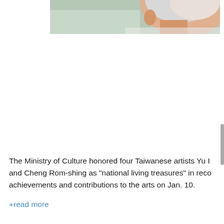[Figure (photo): Partial photo of an elderly person with white/gray hair and pink skin tone, cropped at the top of the page]
The Ministry of Culture honored four Taiwanese artists Yu I and Cheng Rom-shing as "national living treasures" in reco achievements and contributions to the arts on Jan. 10.
+read more